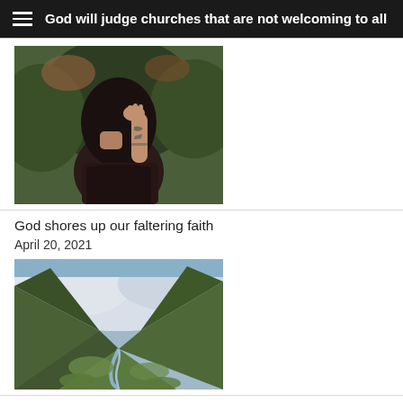God will judge churches that are not welcoming to all
[Figure (photo): Woman with long dark hair and tattoos, wearing a dark patterned outfit, hand raised near her head, outdoors among foliage]
God shores up our faltering faith
April 20, 2021
[Figure (photo): Green mountain valley with a winding river path through it, cloudy sky above steep hills]